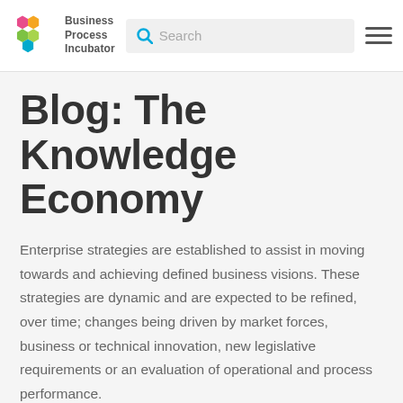Business Process Incubator — Search — Menu
Blog: The Knowledge Economy
Enterprise strategies are established to assist in moving towards and achieving defined business visions. These strategies are dynamic and are expected to be refined, over time; changes being driven by market forces, business or technical innovation, new legislative requirements or an evaluation of operational and process performance.